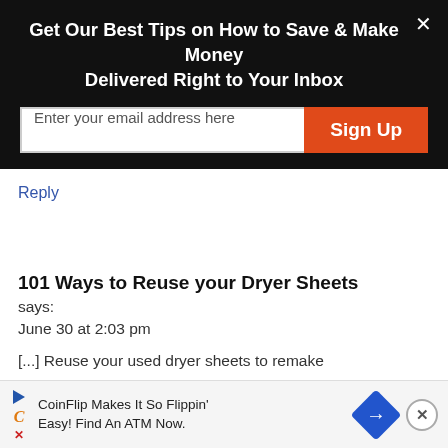Get Our Best Tips on How to Save & Make Money Delivered Right to Your Inbox
Ways To Make Your Own Fabric Softener [...]
Reply
101 Ways to Reuse your Dryer Sheets
says:
June 30 at 2:03 pm
[...] Reuse your used dryer sheets to remake
CoinFlip Makes It So Flippin' Easy! Find An ATM Now.